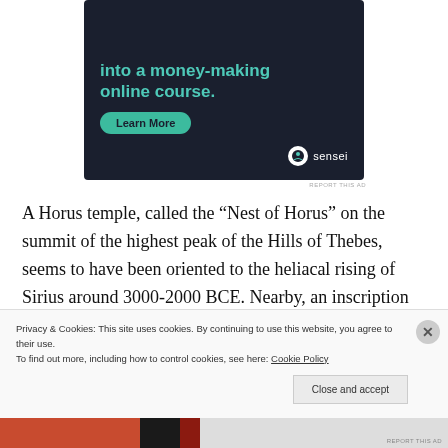[Figure (other): Advertisement banner with dark navy background showing text 'into a money-making online course.' with a teal Learn More button and Sensei logo]
REPORT THIS AD
A Horus temple, called the “Nest of Horus” on the summit of the highest peak of the Hills of Thebes, seems to have been oriented to the heliacal rising of Sirius around 3000-2000 BCE. Nearby, an inscription carved
Privacy & Cookies: This site uses cookies. By continuing to use this website, you agree to their use.
To find out more, including how to control cookies, see here: Cookie Policy
Close and accept